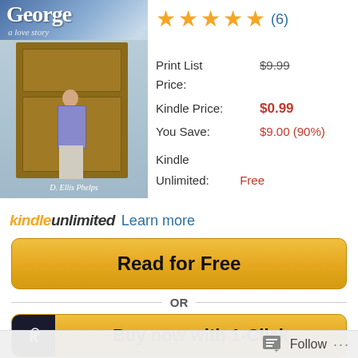[Figure (photo): Book cover for 'George: a love story' by D. Ellis Phelps showing a person standing at wooden doors]
[Figure (other): Five gold stars rating with (6) review count in blue]
Print List Price: $9.99
Kindle Price: $0.99
You Save: $9.00 (90%)
Kindle Unlimited: Free
kindleunlimited Learn more
Read for Free
OR
Buy now with 1-Click
Follow ...